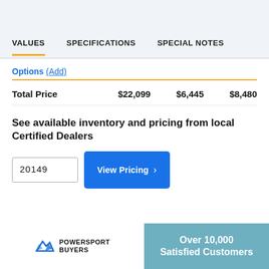VALUES | SPECIFICATIONS | SPECIAL NOTES
Options (Add)
|  |  |  |  |
| --- | --- | --- | --- |
| Total Price | $22,099 | $6,445 | $8,480 |
See available inventory and pricing from local Certified Dealers
20149
View Pricing
[Figure (logo): PowerSport Buyers logo with text 'Over 10,000 Satisfied Customers']